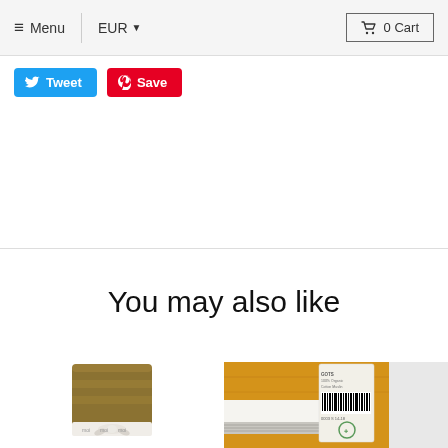≡ Menu | EUR ▾  🛒 0 Cart
Tweet  Save
You may also like
[Figure (photo): Folded olive/mustard colored muslin cloth bundle tied with a white ribbon labeled 'moi']
[Figure (photo): Mustard yellow folded fabric/swaddle with a product hang tag showing a barcode, wrapped with a white band]